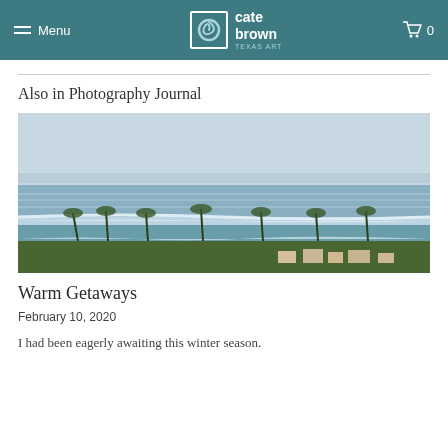Menu | cate brown | 0
Also in Photography Journal
[Figure (photo): Aerial view of tropical coastline with waves rolling in, palm trees and houses in foreground, blue-grey ocean and sky in background]
Warm Getaways
February 10, 2020
I had been eagerly awaiting this winter season.